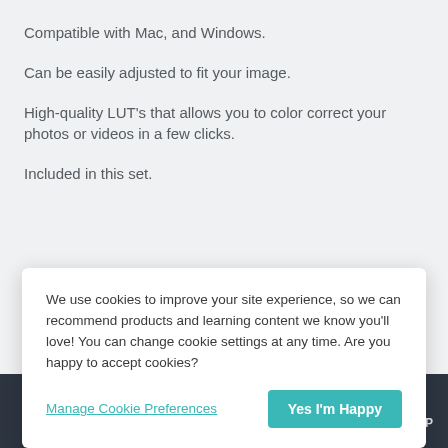Compatible with Mac, and Windows.
Can be easily adjusted to fit your image.
High-quality LUT's that allows you to color correct your photos or videos in a few clicks.
Included in this set.
We use cookies to improve your site experience, so we can recommend products and learning content we know you'll love! You can change cookie settings at any time. Are you happy to accept cookies?
Manage Cookie Preferences
Yes I'm Happy